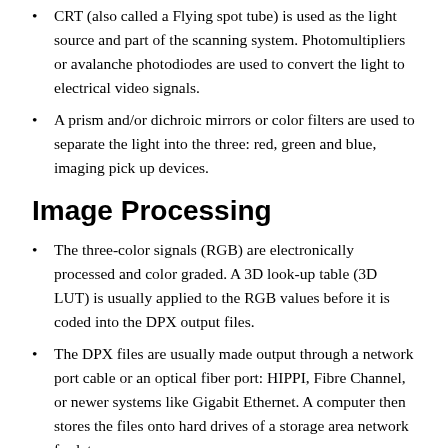CRT (also called a Flying spot tube) is used as the light source and part of the scanning system. Photomultipliers or avalanche photodiodes are used to convert the light to electrical video signals.
A prism and/or dichroic mirrors or color filters are used to separate the light into the three: red, green and blue, imaging pick up devices.
Image Processing
The three-color signals (RGB) are electronically processed and color graded. A 3D look-up table (3D LUT) is usually applied to the RGB values before it is coded into the DPX output files.
The DPX files are usually made output through a network port cable or an optical fiber port: HIPPI, Fibre Channel, or newer systems like Gigabit Ethernet. A computer then stores the files onto hard drives of a storage area network for later